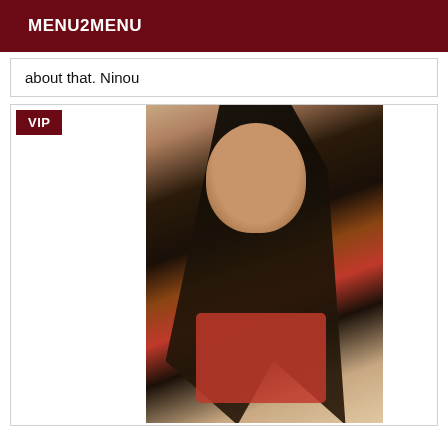MENU2MENU
about that. Ninou
[Figure (photo): A woman with long black hair smiling, wearing a red top, VIP badge in corner]
VIP